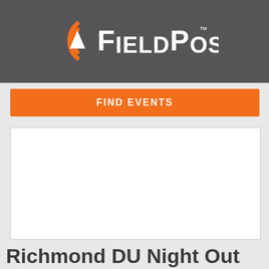[Figure (logo): FieldPost logo with orange circular arc icon and white text on dark grey background]
FIND EVENTS
[Figure (photo): White/blank image placeholder area]
Richmond DU Night Out on